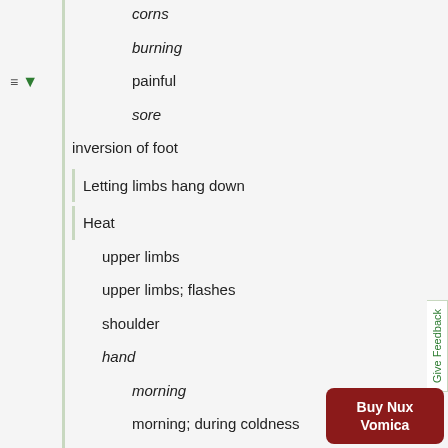corns
burning
painful
sore
inversion of foot
Letting limbs hang down
Heat
upper limbs
upper limbs; flashes
shoulder
hand
morning
morning; during coldness
evening